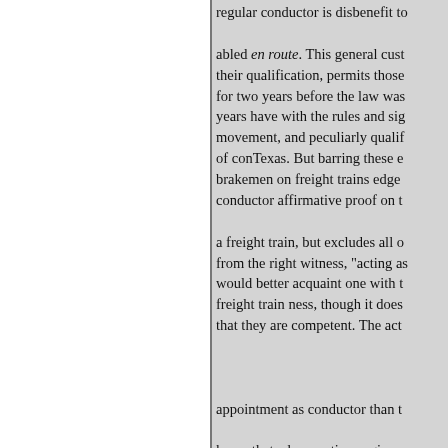regular conductor is disbenefit to abled en route. This general cust their qualification, permits those for two years before the law was years have with the rules and sig movement, and peculiarly qualif of conTexas. But barring these e brakemen on freight trains edge conductor affirmative proof on t a freight train, but excludes all o from the right witness, "acting as would better acquaint one with t freight train ness, though it does that they are competent. The act appointment as conductor than t know that a locomotive engineer train, but affords operated by a c conductor. Acting as engineer o acquaint one with a knowlfitness whole body of the public, includ